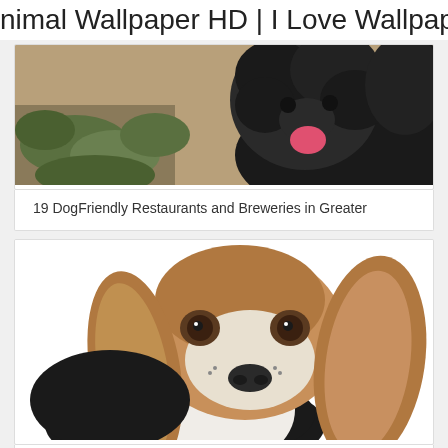nimal Wallpaper HD | I Love Wallpap
[Figure (photo): A fluffy black dog with tongue out, sitting in front of a wall with ivy/green plants]
19 DogFriendly Restaurants and Breweries in Greater
[Figure (photo): A Basset Hound puppy with brown and white coloring and long ears, looking at camera against white background]
Елена Ярославцева Бассетхаунд. Собаки. Собаки